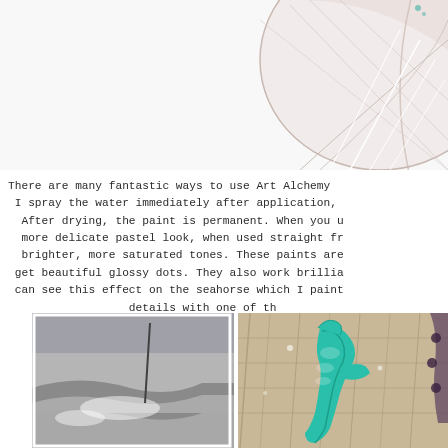[Figure (photo): Partial view of a circular watercolor artwork with pastel colors, visible at the top of the page, partially cropped]
There are many fantastic ways to use Art Alchemy I spray the water immediately after application,  After drying, the paint is permanent. When you u more delicate pastel look, when used straight fr brighter, more saturated tones. These paints are get beautiful glossy dots. They also work brillia can see this effect on the seahorse which I paint details with one of th
[Figure (photo): Two photographs side by side: left shows a black and white stormy ocean scene; right shows a teal/turquoise decorative seahorse figurine on a patterned background]